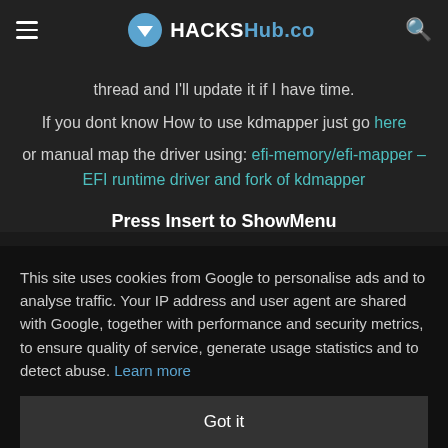HACKSHub.co
thread and I'll update it if I have time.
If you dont know How to use kdmapper just go here or manual map the driver using: efi-memory/efi-mapper – EFI runtime driver and fork of kdmapper
Press Insert to ShowMenu
This site uses cookies from Google to personalise ads and to analyse traffic. Your IP address and user agent are shared with Google, together with performance and security metrics, to ensure quality of service, generate usage statistics and to detect abuse. Learn more
Got it